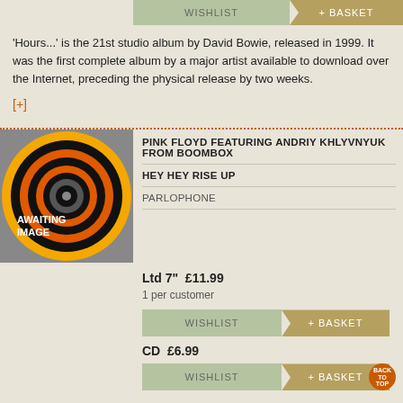'Hours...' is the 21st studio album by David Bowie, released in 1999. It was the first complete album by a major artist available to download over the Internet, preceding the physical release by two weeks.
[+]
[Figure (illustration): Album awaiting image placeholder with concentric vinyl record circle design in orange, black and yellow on grey background, with text 'AWAITING IMAGE']
PINK FLOYD FEATURING ANDRIY KHLYVNYUK FROM BOOMBOX
HEY HEY RISE UP
PARLOPHONE
Ltd 7"  £11.99
1 per customer
WISHLIST
+ BASKET
CD  £6.99
WISHLIST
+ BASKET